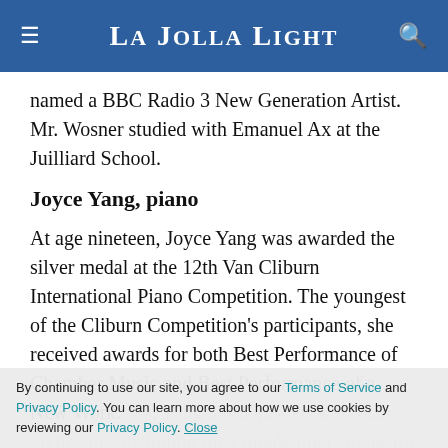La Jolla Light
named a BBC Radio 3 New Generation Artist. Mr. Wosner studied with Emanuel Ax at the Juilliard School.
Joyce Yang, piano
At age nineteen, Joyce Yang was awarded the silver medal at the 12th Van Cliburn International Piano Competition. The youngest of the Cliburn Competition’s participants, she received awards for both Best Performance of Chamber Music and Best Performance of a New Work. Ms. Yang has appeared with many orchestras, including the Philadelphia Orchestra and the Chicago Symphony and has performed numerous times with the New York
By continuing to use our site, you agree to our Terms of Service and Privacy Policy. You can learn more about how we use cookies by reviewing our Privacy Policy. Close